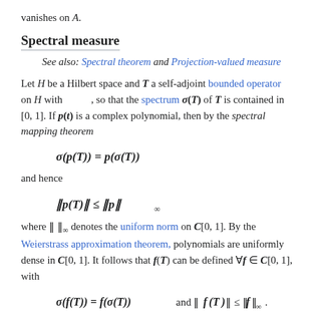vanishes on A.
Spectral measure
See also: Spectral theorem and Projection-valued measure
Let H be a Hilbert space and T a self-adjoint bounded operator on H with , so that the spectrum σ(T) of T is contained in [0, 1]. If p(t) is a complex polynomial, then by the spectral mapping theorem
and hence
where ‖ ‖∞ denotes the uniform norm on C[0, 1]. By the Weierstrass approximation theorem, polynomials are uniformly dense in C[0, 1]. It follows that f(T) can be defined ∀f ∈ C[0, 1], with
If 0 ≤ g ≤ 1 is a lower semicontinuous function on [0, 1], for example the characteristic function χ[0,α] of a subinterval of [0, 1],